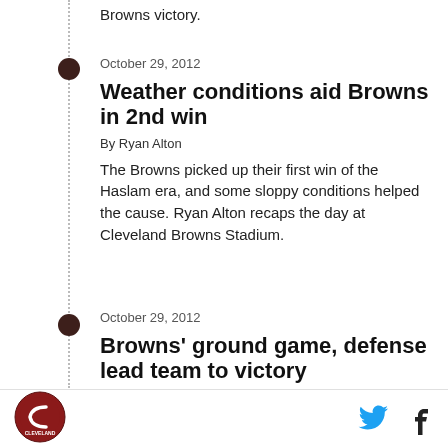Browns victory.
October 29, 2012
Weather conditions aid Browns in 2nd win
By Ryan Alton
The Browns picked up their first win of the Haslam era, and some sloppy conditions helped the cause. Ryan Alton recaps the day at Cleveland Browns Stadium.
October 29, 2012
Browns' ground game, defense lead team to victory
Cleveland Browns logo, Twitter and Facebook icons